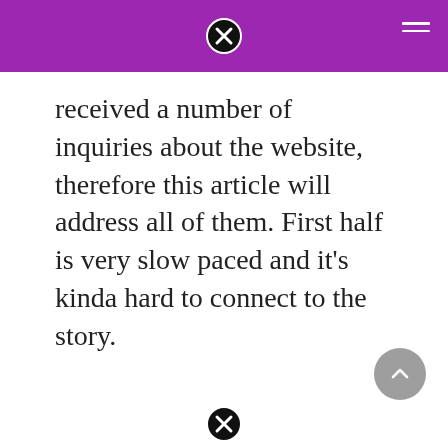received a number of inquiries about the website, therefore this article will address all of them. First half is very slow paced and it’s kinda hard to connect to the story.